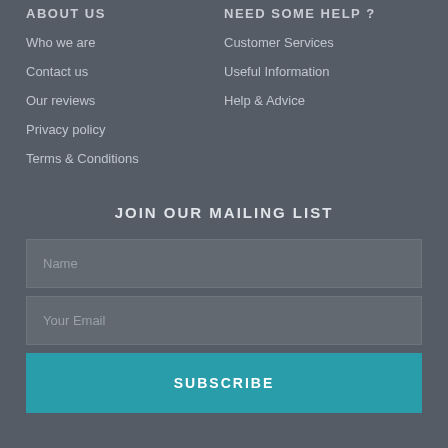ABOUT US
Who we are
Contact us
Our reviews
Privacy policy
Terms & Conditions
NEED SOME HELP ?
Customer Services
Useful Information
Help & Advice
JOIN OUR MAILING LIST
Name
Your Email
SUBSCRIBE